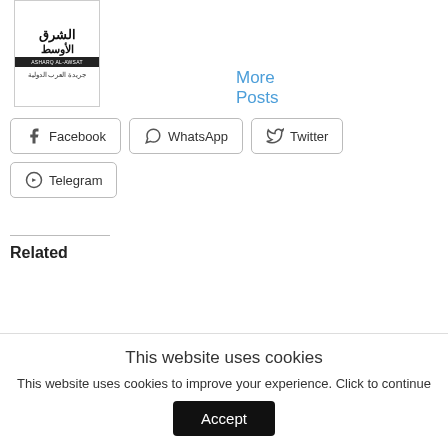[Figure (logo): Asharq Al-Awsat newspaper logo with Arabic text]
More Posts
Facebook
WhatsApp
Twitter
Telegram
Related
This website uses cookies
This website uses cookies to improve your experience. Click to continue
Accept